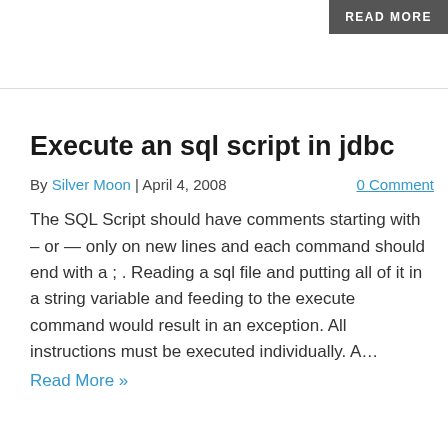READ MORE
Execute an sql script in jdbc
By Silver Moon | April 4, 2008   0 Comment
The SQL Script should have comments starting with – or — only on new lines and each command should end with a ; . Reading a sql file and putting all of it in a string variable and feeding to the execute command would result in an exception. All instructions must be executed individually. A…
Read More »